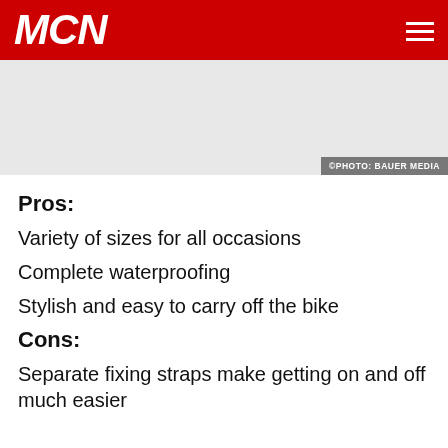MCN
[Figure (photo): Photo area with light grey background and photo credit '©PHOTO: BAUER MEDIA' in bottom right corner]
©PHOTO: BAUER MEDIA
Pros:
Variety of sizes for all occasions
Complete waterproofing
Stylish and easy to carry off the bike
Cons:
Separate fixing straps make getting on and off much easier